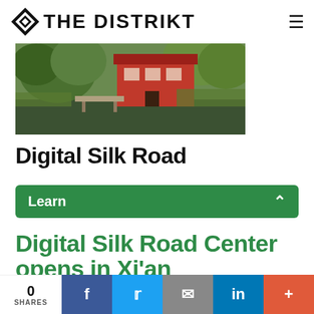THE DISTRIKT
[Figure (photo): A scenic photo of a red building beside a pond with weeping willow trees and lush greenery reflecting on calm water.]
Digital Silk Road
Learn
Digital Silk Road Center opens in Xi'an
0 SHARES